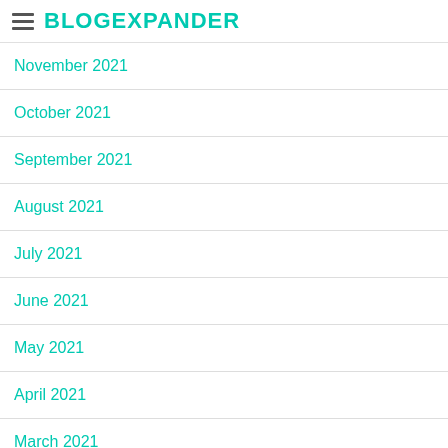BLOGEXPANDER
November 2021
October 2021
September 2021
August 2021
July 2021
June 2021
May 2021
April 2021
March 2021